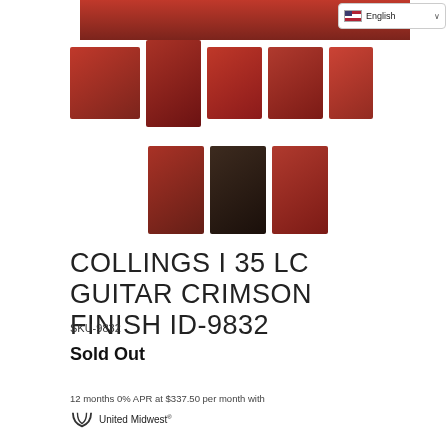[Figure (photo): Multiple product photos of a Collings I 35 LC Guitar in Crimson Finish, shown from various angles including front, back, side, and headstock views. Guitars are red/crimson colored semi-hollow body electric guitars.]
COLLINGS I 35 LC GUITAR CRIMSON FINISH ID-9832
SKU-9832
Sold Out
12 months 0% APR at $337.50 per month with
[Figure (logo): United Midwest logo with stylized M icon]